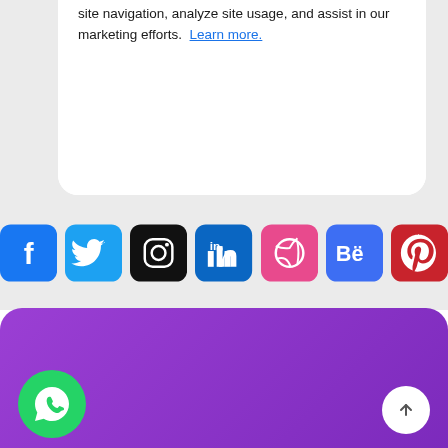site navigation, analyze site usage, and assist in our marketing efforts. Learn more.
[Figure (infographic): Row of 7 social media icon buttons: Facebook (blue), Twitter (light blue), Instagram (black), LinkedIn (dark blue), Dribbble (pink/red), Behance (blue), Pinterest (red)]
[Figure (infographic): Purple gradient section with rounded top corners, a green WhatsApp button at bottom left, and a white scroll-to-top arrow button at bottom right]